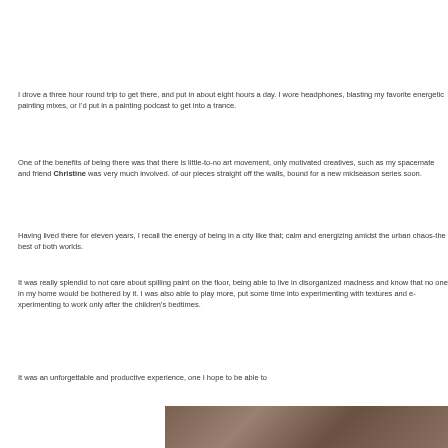I drove a three hour round trip to get there, and put in about eight hours a day. I wore headphones, blasting my favorite energetic painting mixes, or I'd put in a painting podcast to get into a trance.
One of the benefits of being there was that there is little-to-no art movement, only motivated creatives, such as my spacemate and friend Christine was very much involved. Some of our pieces straight off the walls, bound for a new midseason series soon.
Having lived there for eleven years, I recall the energy of being in a city like that; calm and energizing amidst the urban chaos-the best of both worlds.
It was really splendid to not care about spilling paint on the floor, being able to live in disorganized madness and know that no one in my home would be bothered by it. I was also able to play more, put some time into experimenting with textures and was no longer forced to work only after the children's bedtimes.
It was an unforgettable and productive experience, one I hope to be able to
[Figure (photo): A photo strip at the bottom of the page showing a brownish/warm-toned image, partially visible.]